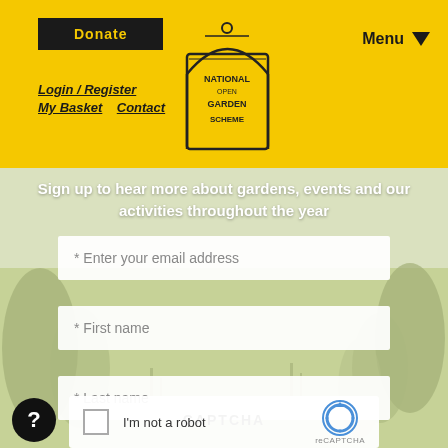Donate | Login / Register | My Basket | Contact | Menu
[Figure (logo): National Garden Scheme logo - decorative arch shaped logo with text]
Sign up to hear more about gardens, events and our activities throughout the year
* Enter your email address
* First name
* Last name
CAPTCHA
[Figure (other): reCAPTCHA widget with checkbox labeled I'm not a robot and reCAPTCHA logo]